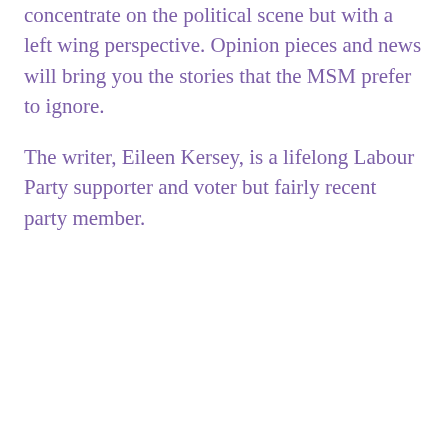concentrate on the political scene but with a left wing perspective. Opinion pieces and news will bring you the stories that the MSM prefer to ignore.
The writer, Eileen Kersey, is a lifelong Labour Party supporter and voter but fairly recent party member.